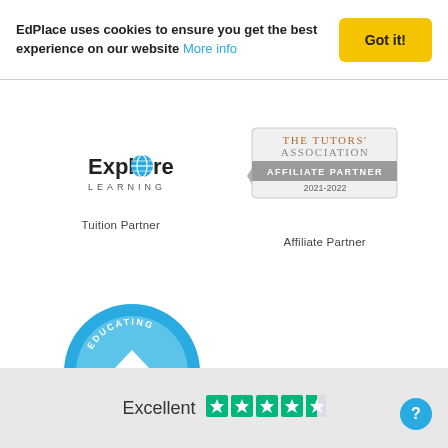EdPlace uses cookies to ensure you get the best experience on our website More info
[Figure (logo): Explore Learning logo with globe icon]
[Figure (logo): The Tutors' Association Affiliate Partner 2021-2022 badge]
Tuition Partner
Affiliate Partner
[Figure (logo): EAP Certified badge with stars and house icon]
EAP Certified
Excellent